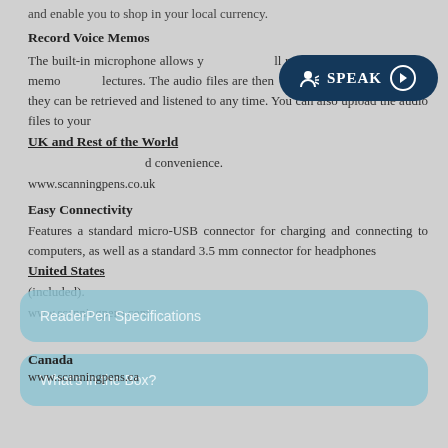and enable you to shop in your local currency.
Record Voice Memos
The built-in microphone allows you to will record audio, such as voice memos, lectures. The audio files are then saved in the device so they can be retrieved and listened to any time. You can also upload the audio files to your convenience.
UK and Rest of the World
www.scanningpens.co.uk
Easy Connectivity
Features a standard micro-USB connector for charging and connecting to computers, as well as a standard 3.5 mm connector for headphones (included).
United States
www.scanningpens.com
[Figure (screenshot): Dark teal SPEAK button with accessibility icon and play circle, overlaying the page text]
ReaderPen Specifications
Canada
www.scanningpens.ca
What's in the Box?